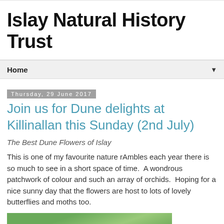Islay Natural History Trust
Home
Thursday, 29 June 2017
Join us for Dune delights at Killinallan this Sunday (2nd July)
The Best Dune Flowers of Islay
This is one of my favourite nature rAmbles each year there is so much to see in a short space of time.  A wondrous patchwork of colour and such an array of orchids.  Hoping for a nice sunny day that the flowers are host to lots of lovely butterflies and moths too.
[Figure (photo): Partial green plant photo at bottom of page]